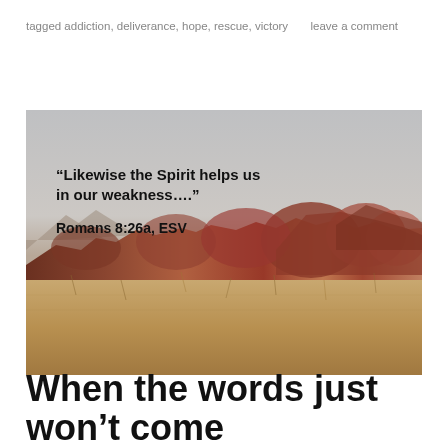tagged addiction, deliverance, hope, rescue, victory     leave a comment
[Figure (photo): Desert landscape with dramatic red rock formations in the background and dry brown grassland in the foreground under a grey sky. Overlaid with bold black text quoting Romans 8:26a, ESV: “Likewise the Spirit helps us in our weakness….”]
When the words just won’t come